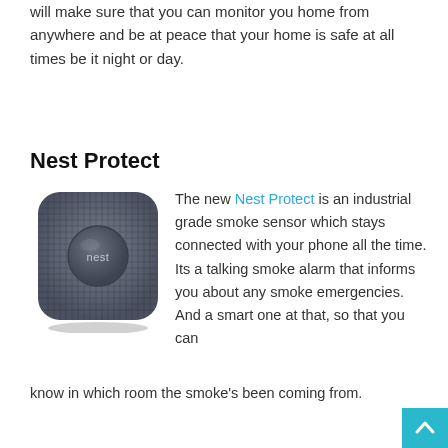will make sure that you can monitor you home from anywhere and be at peace that your home is safe at all times be it night or day.
Nest Protect
[Figure (photo): Photo of the Nest Protect smoke detector device — a dark gray square device with rounded corners and a circular button in the center with the 'nest' logo.]
The new Nest Protect is an industrial grade smoke sensor which stays connected with your phone all the time. Its a talking smoke alarm that informs you about any smoke emergencies. And a smart one at that, so that you can know in which room the smoke's been coming from.